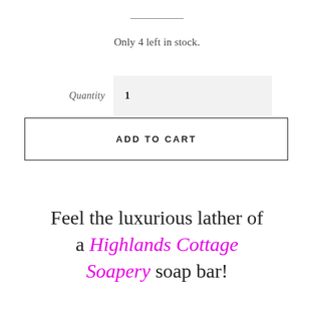Only 4 left in stock.
Quantity  1
ADD TO CART
Feel the luxurious lather of a Highlands Cottage Soapery soap bar!